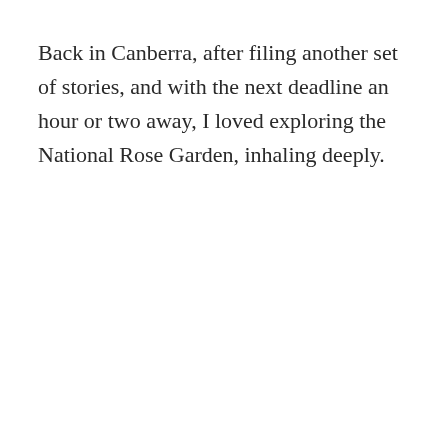Back in Canberra, after filing another set of stories, and with the next deadline an hour or two away, I loved exploring the National Rose Garden, inhaling deeply.